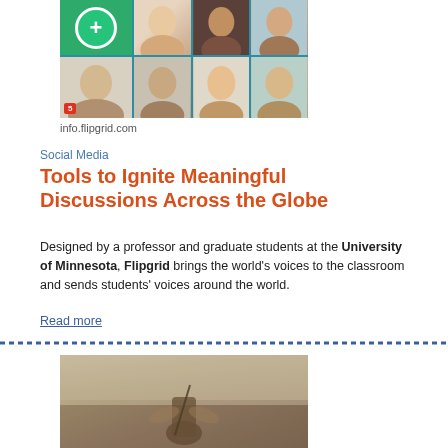[Figure (screenshot): Flipgrid app interface screenshot showing a grid of student video thumbnails with profile photos and a green plus button]
info.flipgrid.com
Social Media
Tools to Ignite Meaningful Discussions Across the Globe
Designed by a professor and graduate students at the University of Minnesota, Flipgrid brings the world’s voices to the classroom and sends students’ voices around the world.
Read more
[Figure (photo): A painting depicting a figure on horseback or in battle, in a dramatic classical style with muted warm tones]